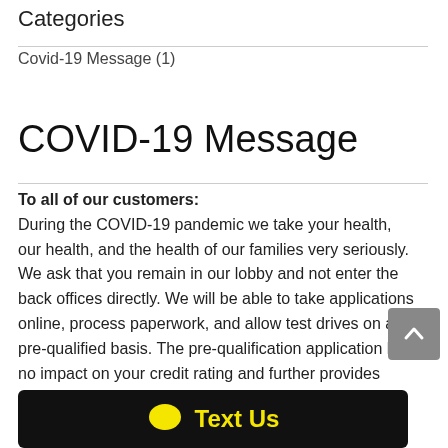Categories
Covid-19 Message (1)
COVID-19 Message
To all of our customers: During the COVID-19 pandemic we take your health, our health, and the health of our families very seriously. We ask that you remain in our lobby and not enter the back offices directly. We will be able to take applications online, process paperwork, and allow test drives on a pre-qualified basis. The pre-qualification application has no impact on your credit rating and further provides efficiency and keeps everyone involved during the purchase process safe. Customer safety and s... w...
[Figure (other): Text Us chat button bar at bottom of page, dark background with yellow speech bubble icon and yellow 'Text Us' label]